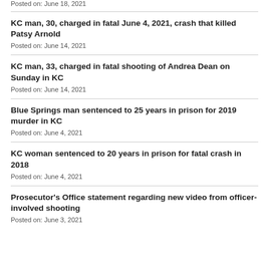Posted on: June 18, 2021
KC man, 30, charged in fatal June 4, 2021, crash that killed Patsy Arnold
Posted on: June 14, 2021
KC man, 33, charged in fatal shooting of Andrea Dean on Sunday in KC
Posted on: June 14, 2021
Blue Springs man sentenced to 25 years in prison for 2019 murder in KC
Posted on: June 4, 2021
KC woman sentenced to 20 years in prison for fatal crash in 2018
Posted on: June 4, 2021
Prosecutor's Office statement regarding new video from officer-involved shooting
Posted on: June 3, 2021